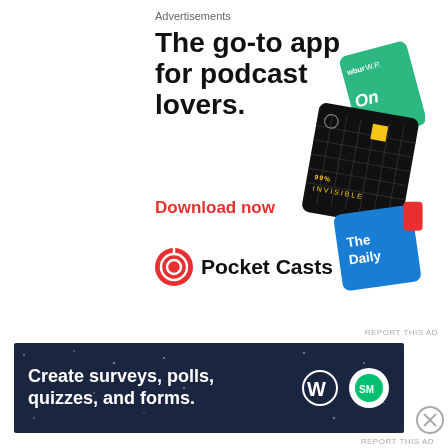Advertisements
[Figure (illustration): Pocket Casts advertisement: 'The go-to app for podcast lovers.' with Download now in red, Pocket Casts logo, and podcast card graphics (99% Invisible, The Daily, wbur cards) on right side.]
You might be in luck...might...
Because there are surprisingly millions of dollars
Advertisements
[Figure (illustration): Advertisement banner: 'Create surveys, polls, quizzes, and forms.' with WordPress and Survey Monkey logos on dark navy background with stars.]